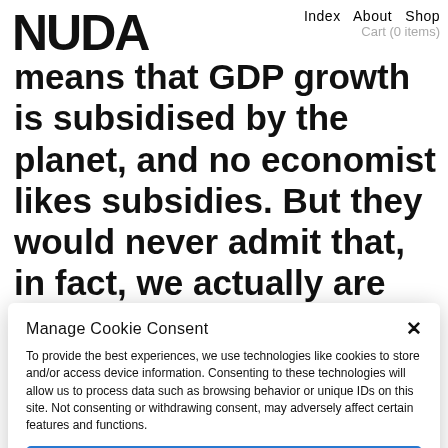Index   About   Shop
Cart (0 items)
[Figure (logo): NUDA logo in bold black condensed font]
means that GDP growth is subsidised by the planet, and no economist likes subsidies. But they would never admit that, in fact, we actually are subsidising our economy. If we had to put the right
Manage Cookie Consent
To provide the best experiences, we use technologies like cookies to store and/or access device information. Consenting to these technologies will allow us to process data such as browsing behavior or unique IDs on this site. Not consenting or withdrawing consent, may adversely affect certain features and functions.
Accept
Deny
Privacy Policy